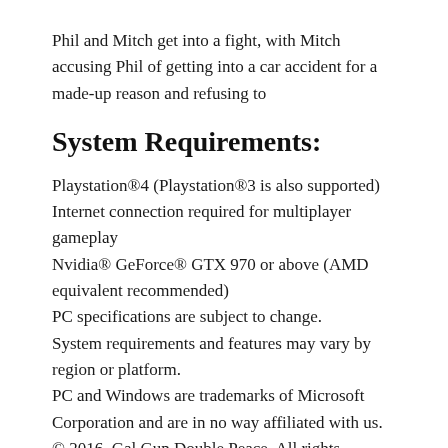Phil and Mitch get into a fight, with Mitch accusing Phil of getting into a car accident for a made-up reason and refusing to
System Requirements:
Playstation®4 (Playstation®3 is also supported)
Internet connection required for multiplayer gameplay
Nvidia® GeForce® GTX 970 or above (AMD equivalent recommended)
PC specifications are subject to change.
System requirements and features may vary by region or platform.
PC and Windows are trademarks of Microsoft Corporation and are in no way affiliated with us.
© 2016, Gal Gun Double Peace. All rights reserved.
“Gal Gun Double Peace” “Gal Gun” “Gal Gun Double Peace♣